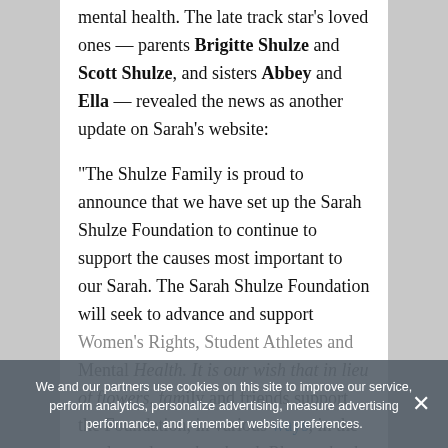mental health. The late track star's loved ones — parents Brigitte Shulze and Scott Shulze, and sisters Abbey and Ella — revealed the news as another update on Sarah's website:
“The Shulze Family is proud to announce that we have set up the Sarah Shulze Foundation to continue to support the causes most important to our Sarah. The Sarah Shulze Foundation will seek to advance and support Women’s Rights, Student Athletes and Mental Health. It is our wish that in lieu of flowers, family and friends support the Foundation, in various ways, in the weeks and months ahead. Please check back for more
We and our partners use cookies on this site to improve our service, perform analytics, personalize advertising, measure advertising performance, and remember website preferences.